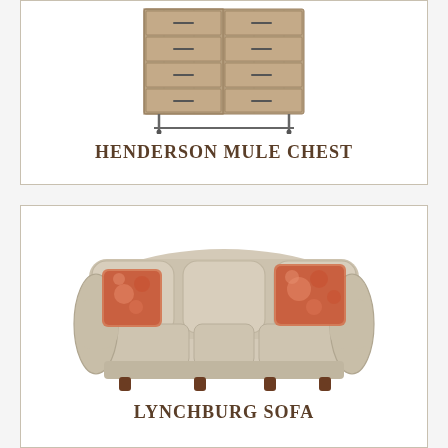[Figure (photo): A wooden multi-drawer chest (mule chest) with metal bar legs and dark metal drawer pulls, shown on white background]
HENDERSON MULE CHEST
[Figure (photo): A beige/cream three-seat upholstered sofa with rolled arms, three seat cushions, and two decorative red floral accent pillows, shown on white background]
LYNCHBURG SOFA